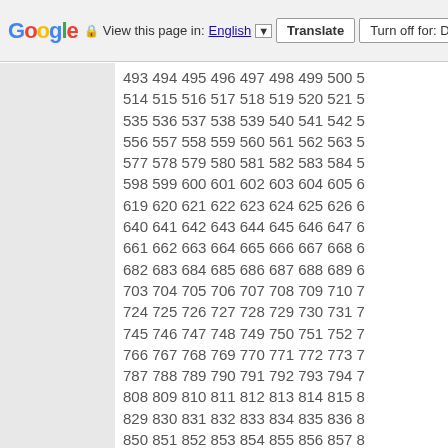Google  View this page in: English ▼  Translate  Turn off for: D
493 494 495 496 497 498 499 500 5
514 515 516 517 518 519 520 521 5
535 536 537 538 539 540 541 542 5
556 557 558 559 560 561 562 563 5
577 578 579 580 581 582 583 584 5
598 599 600 601 602 603 604 605 6
619 620 621 622 623 624 625 626 6
640 641 642 643 644 645 646 647 6
661 662 663 664 665 666 667 668 6
682 683 684 685 686 687 688 689 6
703 704 705 706 707 708 709 710 7
724 725 726 727 728 729 730 731 7
745 746 747 748 749 750 751 752 7
766 767 768 769 770 771 772 773 7
787 788 789 790 791 792 793 794 7
808 809 810 811 812 813 814 815 8
829 830 831 832 833 834 835 836 8
850 851 852 853 854 855 856 857 8
871 872 873 874 875 876 877 878 8
892 893 894 895 896 897 898 899 9
913 914 915 916 917 918 919 920 9
934 935 936 937 938 939 940 941 9
955 956 957 958 959 960 961 962 9